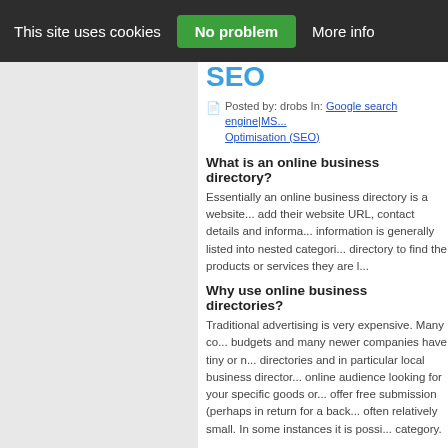This site uses cookies  No problem  More info
SEO
Posted by: drobs In: Google search engine|MSN... Optimisation (SEO)
What is an online business directory?
Essentially an online business directory is a website... add their website URL, contact details and information... information is generally listed into nested categories... directory to find the products or services they are looking for.
Why use online business directories?
Traditional advertising is very expensive. Many companies have limited budgets and many newer companies have tiny or no advertising budgets. Directories and in particular local business directories can reach a target online audience looking for your specific goods or services. Many directories offer free submission (perhaps in return for a backlink) and paid listings are often relatively small. In some instances it is possible to sponsor a category.
How do I decide which online business directory...
The answer to this question is very varied but as with all things you should conduct some research. Shop around and compare what's on offer but remember comparing like for like. You might not have much time for low quality directories and...